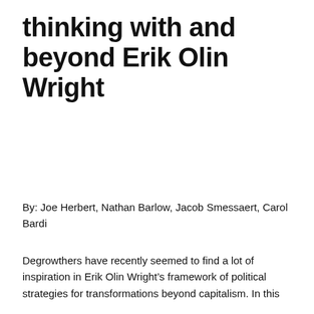thinking with and beyond Erik Olin Wright
By: Joe Herbert, Nathan Barlow, Jacob Smessaert, Carol Bardi
Degrowthers have recently seemed to find a lot of inspiration in Erik Olin Wright’s framework of political strategies for transformations beyond capitalism. In this